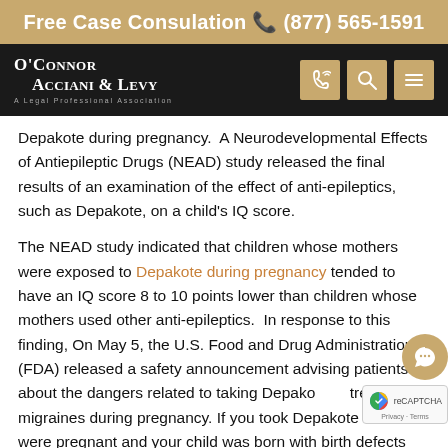Free Case Consulation ☎ (877) 565-1591
[Figure (logo): O'Connor Acciani & Levy law firm logo and navigation bar with phone, search, and menu icons]
Depakote during pregnancy.  A Neurodevelopmental Effects of Antiepileptic Drugs (NEAD) study released the final results of an examination of the effect of anti-epileptics, such as Depakote, on a child’s IQ score.
The NEAD study indicated that children whose mothers were exposed to Depakote during pregnancy tended to have an IQ score 8 to 10 points lower than children whose mothers used other anti-epileptics.  In response to this finding, On May 5, the U.S. Food and Drug Administration (FDA) released a safety announcement advising patients about the dangers related to taking Depakote to treat migraines during pregnancy. If you took Depakote while were pregnant and your child was born with birth defects contact one of our trusted personal injury attorneys in Cincinnati today for a